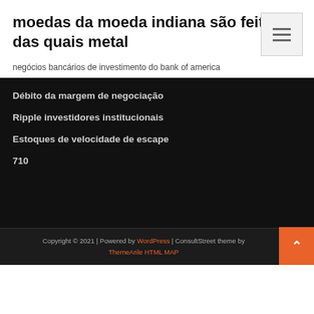moedas da moeda indiana são feitas das quais metal
negócios bancários de investimento do bank of america
Débito da margem de negociação
Ripple investidores institucionais
Estoques de velocidade de escape
710
Copyright © 2021 | Powered by WordPress | ConsultStreet theme by ThemeArile HTML MAP